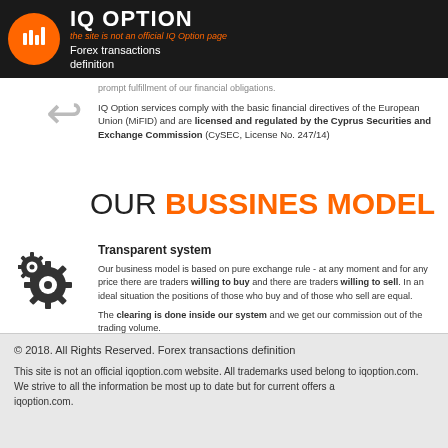IQ OPTION | the site is not an official IQ Option page | Forex transactions definition
prompt fulfillment of our financial obligations.
IQ Option services comply with the basic financial directives of the European Union (MiFID) and are licensed and regulated by the Cyprus Securities and Exchange Commission (CySEC, License No. 247/14)
OUR BUSSINES MODEL
Transparent system
Our business model is based on pure exchange rule - at any moment and for any price there are traders willing to buy and there are traders willing to sell. In an ideal situation the positions of those who buy and of those who sell are equal.
The clearing is done inside our system and we get our commission out of the trading volume.
In cases where there are differences between the buyers and the sellers we pass this risk to the market maker which covers the risk.
© 2018. All Rights Reserved. Forex transactions definition
This site is not an official iqoption.com website. All trademarks used belong to iqoption.com. We strive to all the information be most up to date but for current offers a... iqoption.com.